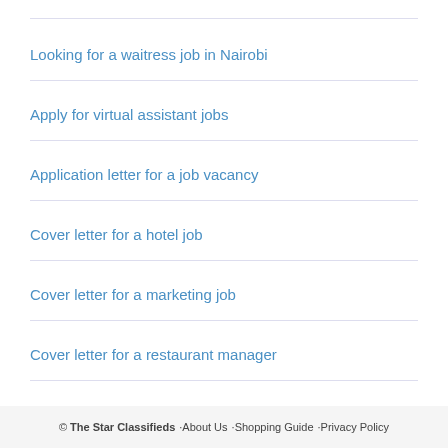Looking for a waitress job in Nairobi
Apply for virtual assistant jobs
Application letter for a job vacancy
Cover letter for a hotel job
Cover letter for a marketing job
Cover letter for a restaurant manager
© The Star Classifieds · About Us · Shopping Guide · Privacy Policy